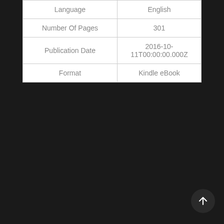| Language | English |
| Number Of Pages | 301 |
| Publication Date | 2016-10-11T00:00:00.000Z |
| Format | Kindle eBook |